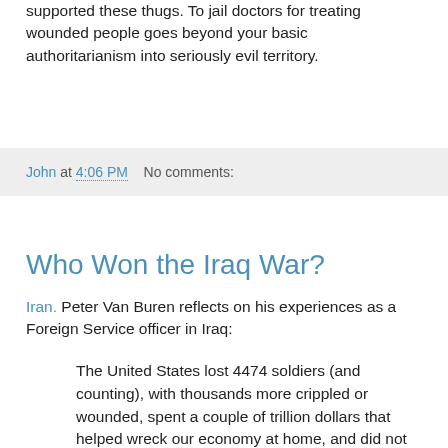supported these thugs. To jail doctors for treating wounded people goes beyond your basic authoritarianism into seriously evil territory.
John at 4:06 PM    No comments:
Who Won the Iraq War?
Iran. Peter Van Buren reflects on his experiences as a Foreign Service officer in Iraq:
The United States lost 4474 soldiers (and counting), with thousands more crippled or wounded, spent a couple of trillion dollars that helped wreck our economy at home, and did not get much in return. Blood for oil? Only in the sense that one of out of every eight U.S. casualties in Iraq died guarding a fuel convoy. Iraqi oil output is stuck at pre-war levels and will be for some time. A drop in world oil prices would